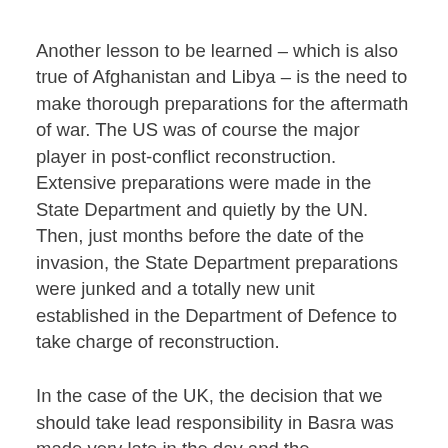Another lesson to be learned – which is also true of Afghanistan and Libya – is the need to make thorough preparations for the aftermath of war. The US was of course the major player in post-conflict reconstruction. Extensive preparations were made in the State Department and quietly by the UN. Then, just months before the date of the invasion, the State Department preparations were junked and a totally new unit established in the Department of Defence to take charge of reconstruction.
In the case of the UK, the decision that we should take lead responsibility in Basra was made very late in the day and the preparations for reconstruction were very limited. There was no acceptance that there would be a need for a further Security Council resolution to authorise